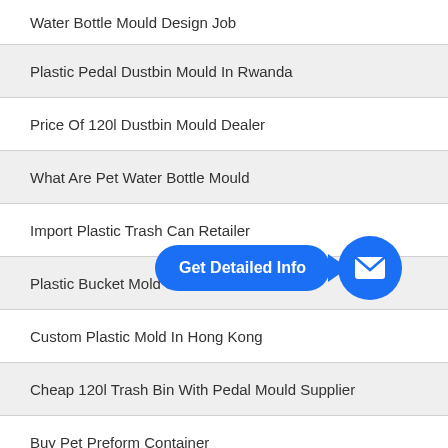Water Bottle Mould Design Job
Plastic Pedal Dustbin Mould In Rwanda
Price Of 120l Dustbin Mould Dealer
What Are Pet Water Bottle Mould
Import Plastic Trash Can Retailer
Plastic Bucket Mold Su…
Custom Plastic Mold In Hong Kong
Cheap 120l Trash Bin With Pedal Mould Supplier
Buy Pet Preform Container
Pp Plastic Pallets In Kenya